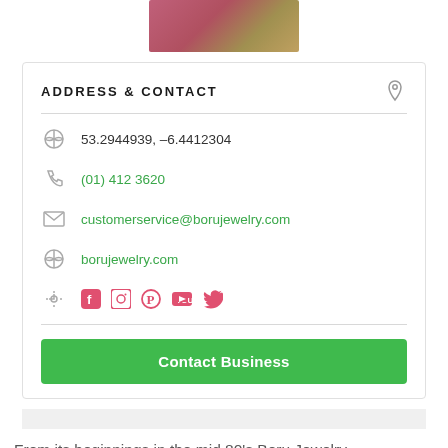[Figure (photo): Partially visible image at top, appears to be a product or banner image with pink/gold tones]
ADDRESS & CONTACT
53.2944939, -6.4412304
(01) 412 3620
customerservice@borujewelry.com
borujewelry.com
[Figure (other): Social media icons: Facebook, Instagram, Pinterest, YouTube, Twitter]
Contact Business
From its beginnings in the mid 80's Boru Jewelry,